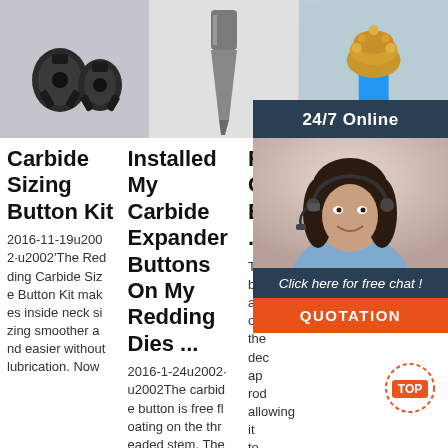[Figure (photo): Two dark carbide button tips/inserts on grey fabric background]
[Figure (photo): Single dark metal chisel/wedge shaped carbide tool on light background]
[Figure (photo): Gold/bronze drill bit on blue cylindrical rod against grey background with 24/7 Online chat overlay panel]
Carbide Sizing Button Kit
2016-11-19u2002·u2002'The Redding Carbide Size Button Kit makes inside neck sizing smoother and easier without lubrication. Now
Installed My Carbide Expander Buttons On My Redding Dies ...
2016-1-24u2002·u2002The carbide button is free floating on the threaded stem. The
Re Ca Bu .30
The butt ating on the dec ap rod allowing it to self-center in the case neck. Kit contains carbide